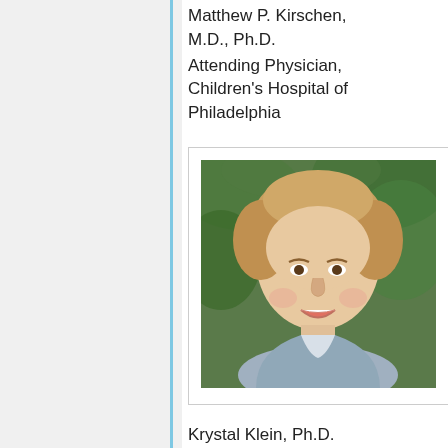Matthew P. Kirschen, M.D., Ph.D.
Attending Physician, Children's Hospital of Philadelphia
[Figure (photo): Headshot of Krystal Klein, a woman with short curly blonde hair, smiling, wearing a light blue blazer, photographed outdoors.]
Krystal Klein, Ph.D.
Postdoctoral Fellow, Oregon Health & Science University
[Figure (photo): Placeholder silhouette headshot image in gray.]